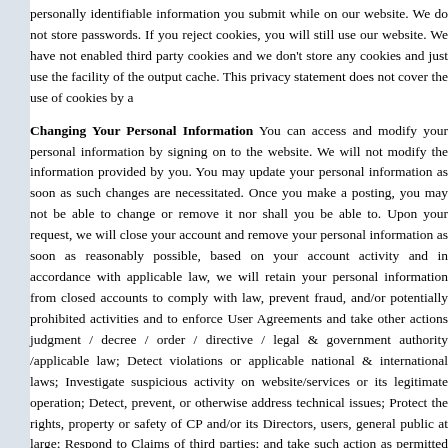personally identifiable information you submit while on our website. We do not store passwords. If you reject cookies, you will still use our website. We have not enabled third party cookies and we don't store any cookies and just use the facility of the output cache. This privacy statement does not cover the use of cookies by a
Changing Your Personal Information You can access and modify your personal information by signing on to the website. We will not modify the information provided by you. You may update your personal information as soon as such changes are necessitated. Once you make a posting, you may not be able to change or remove it nor shall you be able to. Upon your request, we will close your account and remove your personal information as soon as reasonably possible, based on your account activity and in accordance with applicable law, we will retain your personal information from closed accounts to comply with law, prevent fraud, and/or potentially prohibited activities and to enforce User Agreements and take other actions judgment / decree / order / directive / legal & government authority /applicable law; Detect violations or applicable national & international laws; Investigate suspicious activity on website/services or its legitimate operation; Detect, prevent, or otherwise address technical issues; Protect the rights, property or safety of CP and/or its Directors, users, general public at large; Respond to Claims of third parties; and take such action as permitted by law.
Account Protection Your password is the key to your account. You shall be responsible for all activities happening under your username and you shall be solely responsible to keep it secure. Do not disclose your password to anyone. If you share your account information with others, you shall be solely responsible for all actions taken by those users and you may lose substantial control over your personal information and may be subject to legally binding actions taken on your behalf. Therefore, if your password has been compromised, you should immediately change your password.
Business Transaction In the event CP goes through a business transition